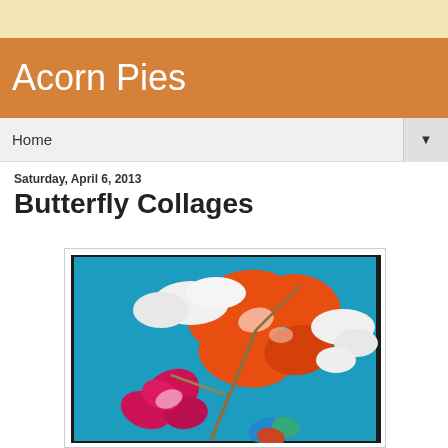Acorn Pies
Home
Saturday, April 6, 2013
Butterfly Collages
[Figure (photo): A butterfly collage craft made with painted coffee filters or tissue paper in orange and pink/red, cotton balls for clouds, and twigs on a blue paper background. The butterflies have orange and pink painted wings with white accents.]